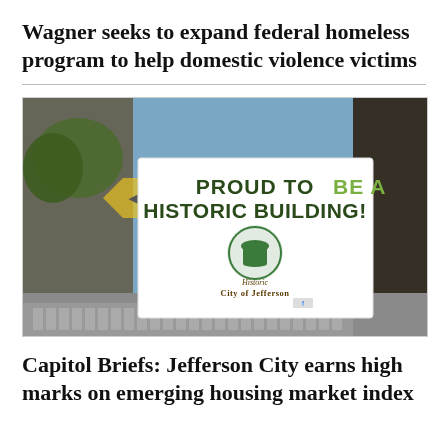Wagner seeks to expand federal homeless program to help domestic violence victims
[Figure (photo): A photo of a window display featuring a white sign reading 'PROUD TO BE A HISTORIC BUILDING!' with a circular logo for 'Historic City of Jefferson' below, showing a domed building silhouette in green and gold colors. The background shows a street scene reflected in the window glass.]
Capitol Briefs: Jefferson City earns high marks on emerging housing market index